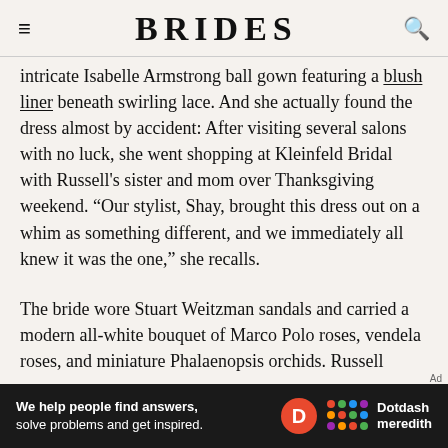BRIDES
intricate Isabelle Armstrong ball gown featuring a blush liner beneath swirling lace. And she actually found the dress almost by accident: After visiting several salons with no luck, she went shopping at Kleinfeld Bridal with Russell's sister and mom over Thanksgiving weekend. “Our stylist, Shay, brought this dress out on a whim as something different, and we immediately all knew it was the one,” she recalls.
The bride wore Stuart Weitzman sandals and carried a modern all-white bouquet of Marco Polo roses, vendela roses, and miniature Phalaenopsis orchids. Russell
[Figure (other): Dotdash Meredith advertisement banner: 'We help people find answers, solve problems and get inspired.' with Dotdash Meredith logo]